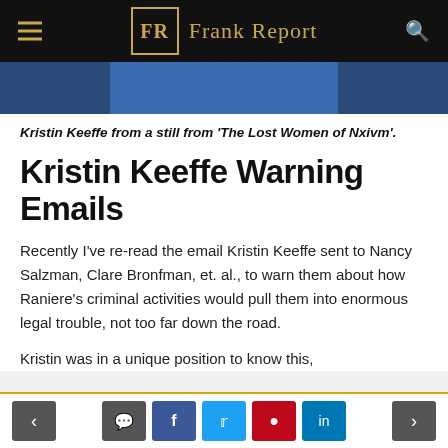FR Frank Report
[Figure (photo): Partial image of Kristin Keeffe from 'The Lost Women of Nxivm', showing upper portion of a person against a blue background]
Kristin Keeffe from a still from 'The Lost Women of Nxivm'.
Kristin Keeffe Warning Emails
Recently I've re-read the email Kristin Keeffe sent to Nancy Salzman, Clare Bronfman, et. al., to warn them about how Raniere's criminal activities would pull them into enormous legal trouble, not too far down the road.
Kristin was in a unique position to know this, because of her years working for Raniere — both
Navigation and social sharing buttons